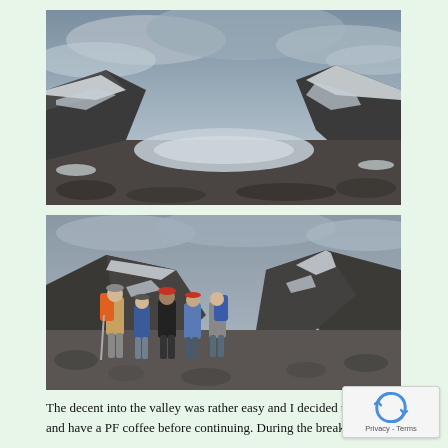[Figure (photo): Aerial or wide-angle view of a mountain valley with snow patches, rocky terrain, and a glacial lake or ice field in the center, under a cloudy sky.]
[Figure (photo): Group of five hikers with backpacks posing on rocky mountain terrain with snow patches in the background; one hiker has an orange backpack, another wears a red hat.]
The decent into the valley was rather easy and I decided to take a and have a PF coffee before continuing. During the break a group of five